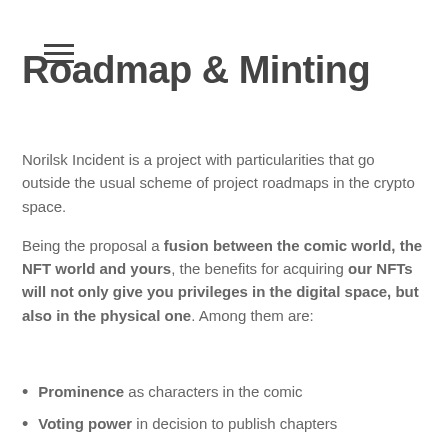Roadmap & Minting
Norilsk Incident is a project with particularities that go outside the usual scheme of project roadmaps in the crypto space.
Being the proposal a fusion between the comic world, the NFT world and yours, the benefits for acquiring our NFTs will not only give you privileges in the digital space, but also in the physical one. Among them are:
Prominence as characters in the comic
Voting power in decision to publish chapters